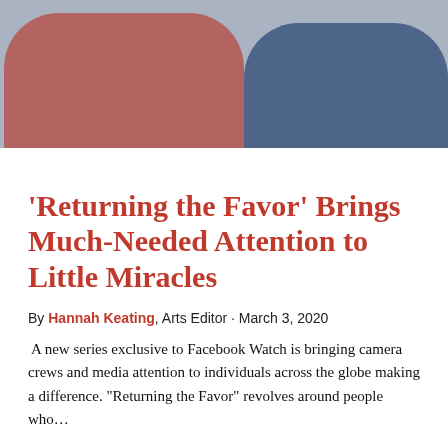[Figure (photo): Two people standing together outdoors — one wearing a red coat on the left, one wearing a dark blue puffer vest on the right, with a light grey background.]
‘Returning the Favor’ Brings Much-Needed Attention to Little Miracles
By Hannah Keating, Arts Editor · March 3, 2020
A new series exclusive to Facebook Watch is bringing camera crews and media attention to individuals across the globe making a difference. “Returning the Favor” revolves around people who…